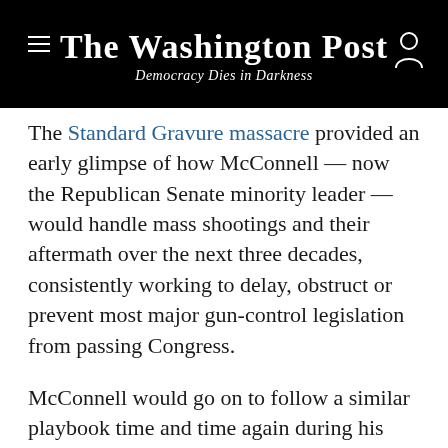The Washington Post
Democracy Dies in Darkness
The Standard Gravure massacre provided an early glimpse of how McConnell — now the Republican Senate minority leader — would handle mass shootings and their aftermath over the next three decades, consistently working to delay, obstruct or prevent most major gun-control legislation from passing Congress.
McConnell would go on to follow a similar playbook time and time again during his seven terms in Congress, offering vague promises of action, often without any specifics, only to be followed by no action or incremental measures that avoided new gun regulations. As a Republican leader, he also helped dissuade his conference — as after the 2012 mass